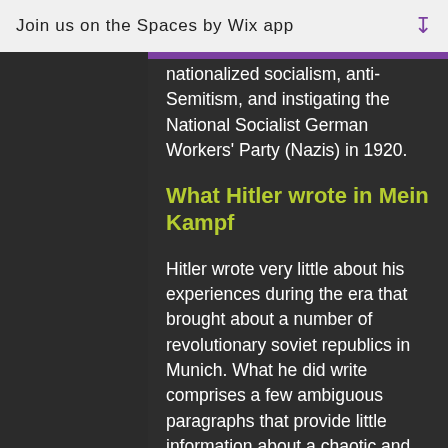Join us on the Spaces by Wix app ↓
nationalized socialism, anti-Semitism, and instigating the National Socialist German Workers' Party (Nazis) in 1920.
What Hitler wrote in Mein Kampf
Hitler wrote very little about his experiences during the era that brought about a number of revolutionary soviet republics in Munich. What he did write comprises a few ambiguous paragraphs that provide little information about a chaotic and violent power struggle that resulted in street battles across the city of